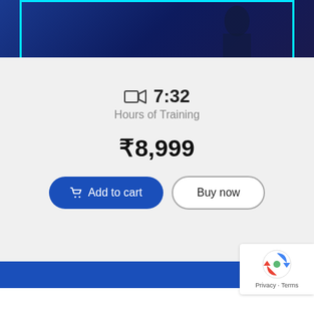[Figure (screenshot): Top portion of a course product page screenshot showing dark blue background with cyan border]
🎬 7:32
Hours of Training
₹8,999
Add to cart
Buy now
[Figure (other): reCAPTCHA badge with Privacy and Terms text]
[Figure (other): Blue banner section at bottom of page]